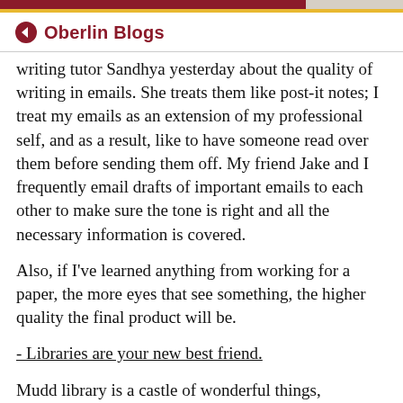Oberlin Blogs
writing tutor Sandhya yesterday about the quality of writing in emails. She treats them like post-it notes; I treat my emails as an extension of my professional self, and as a result, like to have someone read over them before sending them off. My friend Jake and I frequently email drafts of important emails to each other to make sure the tone is right and all the necessary information is covered.
Also, if I've learned anything from working for a paper, the more eyes that see something, the higher quality the final product will be.
- Libraries are your new best friend.
Mudd library is a castle of wonderful things,